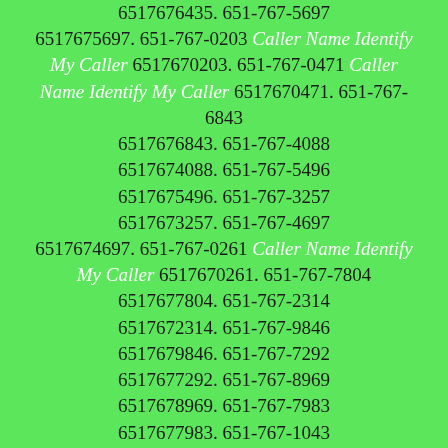6517676435. 651-767-5697 6517675697. 651-767-0203 Caller Name Identify My Caller 6517670203. 651-767-0471 Caller Name Identify My Caller 6517670471. 651-767-6843 6517676843. 651-767-4088 6517674088. 651-767-5496 6517675496. 651-767-3257 6517673257. 651-767-4697 6517674697. 651-767-0261 Caller Name Identify My Caller 6517670261. 651-767-7804 6517677804. 651-767-2314 6517672314. 651-767-9846 6517679846. 651-767-7292 6517677292. 651-767-8969 6517678969. 651-767-7983 6517677983. 651-767-1043 6517671043. 651-767-6211 6517676211. 651-767-6709 6517676709. 651-767-0388 Caller Name Identify My Caller 6517670388. 651-767-2730 6517672730. 651-767-6284 6517676284. 651-767-1002 6517671002. 651-767-8725 6517678725. 651-767-1886 6517671886. 651-767-0081